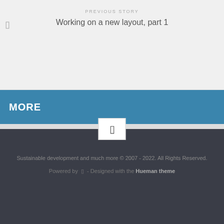PREVIOUS STORY
Working on a new layout, part 1
MORE
Sustainable development and much more © 2007 - 2022. All Rights Reserved.
Powered by  - Designed with the Hueman theme